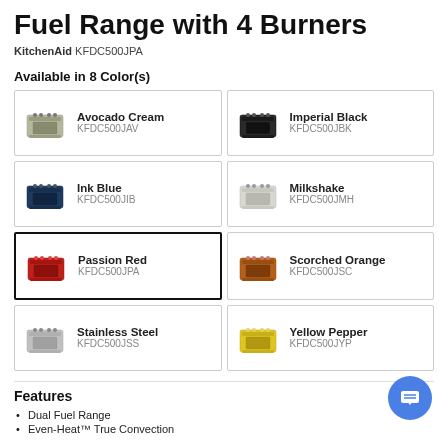Fuel Range with 4 Burners
KitchenAid KFDC500JPA
Available in 8 Color(s)
Avocado Cream KFDC500JAV
Imperial Black KFDC500JBK
Ink Blue KFDC500JIB
Milkshake KFDC500JMH
Passion Red KFDC500JPA
Scorched Orange KFDC500JSC
Stainless Steel KFDC500JSS
Yellow Pepper KFDC500JYP
Features
Dual Fuel Range
Even-Heat™ True Convection